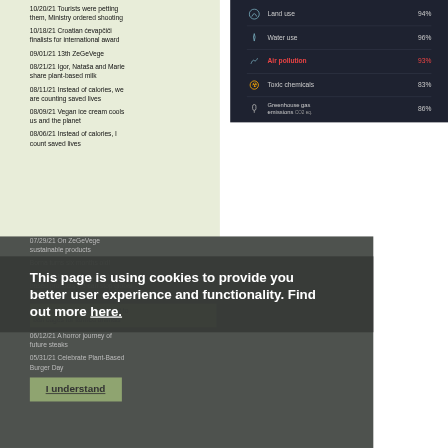10/20/21 Tourists were petting them, Ministry ordered shooting
10/18/21 Croatian ćevapčiči finalists for international award
09/01/21 13th ZeGeVege
08/21/21 Igor, Nataša and Marie share plant-based milk
08/11/21 Instead of calories, we are counting saved lives
08/09/21 Vegan ice cream cools us and the planet
08/06/21 Instead of calories, I count saved lives
[Figure (screenshot): Screenshot of a dark-themed table showing environmental impact categories: Land use 94%, Water use 96%, Air pollution 93%, Toxic chemicals 83%, Greenhouse gas emissions 86%]
07/29/21 On ZeGeVege sustainable products
Borna turns six months old!
07/22/21 By choosing plant-based products we can stop global warming
This page is using cookies to provide you better user experience and functionality. Find out more here.
07/01/21 Historic commitment to ban cages for farmed animals
I understand
06/12/21 A horror journey of future steaks
05/31/21 Celebrate Plant-Based Burger Day